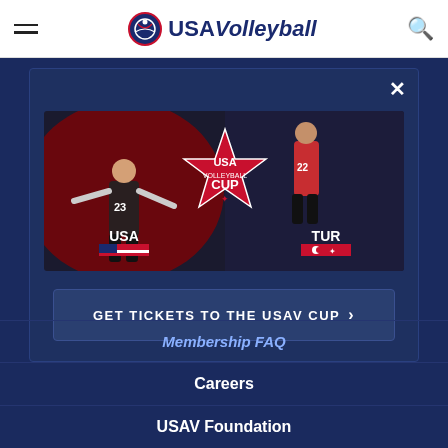USA Volleyball
[Figure (screenshot): USA Volleyball Cup promotional banner showing two volleyball players (USA #23 on left, TUR #22 on right) flanking the USA Volleyball Cup star logo, with text USA and TUR and national flags]
GET TICKETS TO THE USAV CUP >
Membership FAQ
Careers
USAV Foundation